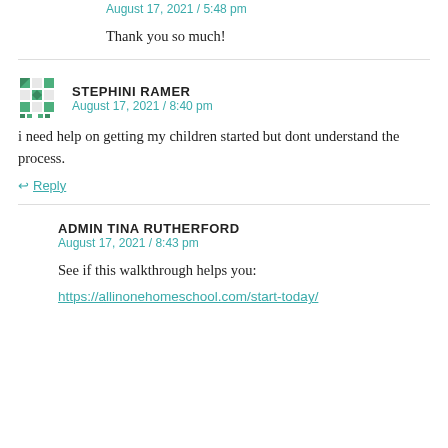Thank you so much!
STEPHINI RAMER
August 17, 2021 / 8:40 pm
i need help on getting my children started but dont understand the process.
Reply
ADMIN TINA RUTHERFORD
August 17, 2021 / 8:43 pm
See if this walkthrough helps you:
https://allinonehomeschool.com/start-today/